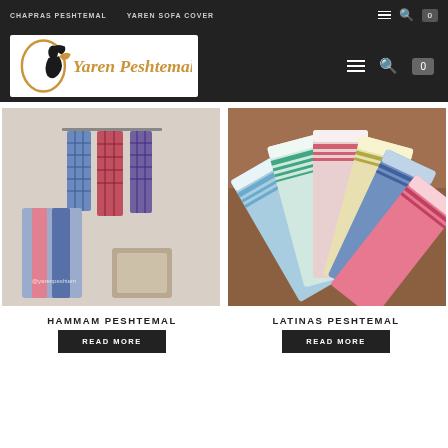CHAPRAS PESHTEMAL | YAREN SOFA COVER
[Figure (logo): Yaren Peshtemal logo with stylized figure and golden cursive text]
[Figure (photo): Hammam peshtemal scarves hanging and displayed, plaid/checkered pattern in blue, red, pink]
[Figure (photo): Latinas peshtemal towels fanned out showing striped patterns in multiple colors on wooden surface]
HAMMAM PESHTEMAL
LATINAS PESHTEMAL
READ MORE
READ MORE